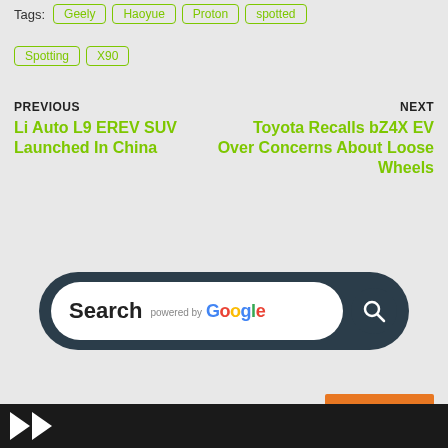Tags: Geely  Haoyue  Proton  spotted  Spotting  X90
PREVIOUS
Li Auto L9 EREV SUV Launched In China
NEXT
Toyota Recalls bZ4X EV Over Concerns About Loose Wheels
[Figure (screenshot): Search bar powered by Google with dark rounded background and magnifying glass icon]
Translate »